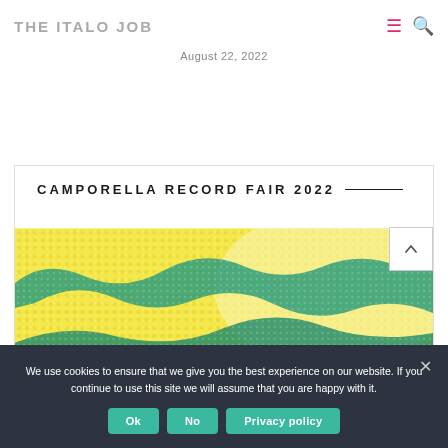THE ITALO JOB
August 22, 2022
CAMPORELLA RECORD FAIR 2022
[Figure (illustration): Abstract halftone artwork with yellow and green/teal wavy lines on a dotted yellow background]
We use cookies to ensure that we give you the best experience on our website. If you continue to use this site we will assume that you are happy with it.